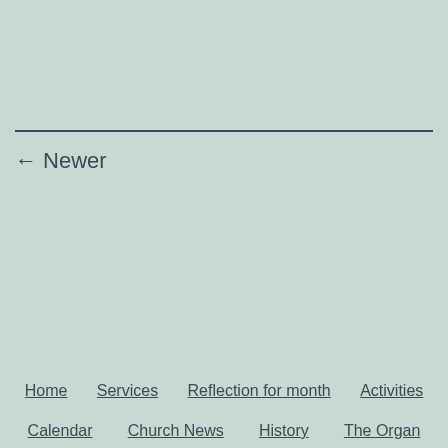← Newer
Home  Services  Reflection for month  Activities
Calendar  Church News  History  The Organ